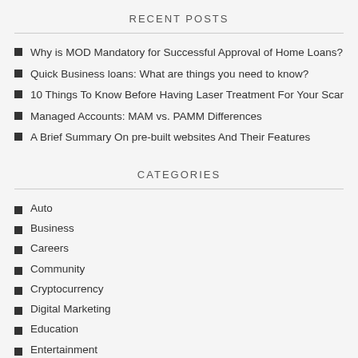RECENT POSTS
Why is MOD Mandatory for Successful Approval of Home Loans?
Quick Business loans: What are things you need to know?
10 Things To Know Before Having Laser Treatment For Your Scar
Managed Accounts: MAM vs. PAMM Differences
A Brief Summary On pre-built websites And Their Features
CATEGORIES
Auto
Business
Careers
Community
Cryptocurrency
Digital Marketing
Education
Entertainment
Events